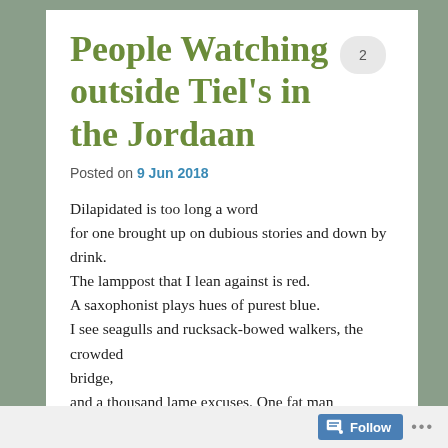People Watching outside Tiel's in the Jordaan
Posted on 9 Jun 2018
Dilapidated is too long a word
for one brought up on dubious stories and down by drink.
The lamppost that I lean against is red.
A saxophonist plays hues of purest blue.
I see seagulls and rucksack-bowed walkers, the crowded bridge,
and a thousand lame excuses. One fat man
has stuck feathers in his cap, up, like a fan.
Follow